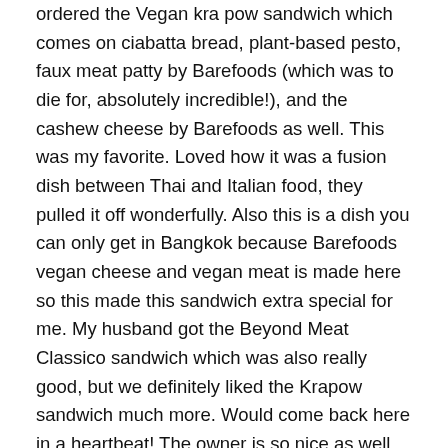ordered the Vegan kra pow sandwich which comes on ciabatta bread, plant-based pesto, faux meat patty by Barefoods (which was to die for, absolutely incredible!), and the cashew cheese by Barefoods as well. This was my favorite. Loved how it was a fusion dish between Thai and Italian food, they pulled it off wonderfully. Also this is a dish you can only get in Bangkok because Barefoods vegan cheese and vegan meat is made here so this made this sandwich extra special for me. My husband got the Beyond Meat Classico sandwich which was also really good, but we definitely liked the Krapow sandwich much more. Would come back here in a heartbeat! The owner is so nice as well, and speaks perfect English so can help you out with ordering. They also have Vegan pizza and they use vegan mozzarella for it, so that's awesome, will come back and order a pizza next time I visit. The owner is actually from Italy so the food here is authentically Italian but with a hipster,